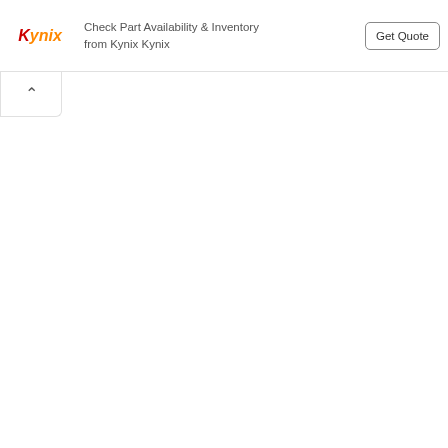[Figure (logo): Kynix logo in red and orange italic text]
Check Part Availability & Inventory from Kynix Kynix
Get Quote
[Figure (other): Collapse/chevron up button UI element]